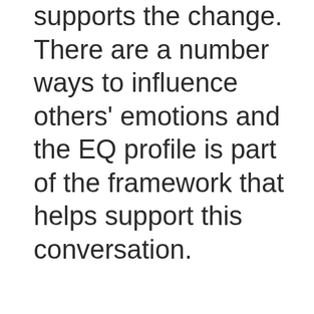toward a state that embraces and supports the change. There are a number ways to influence others' emotions and the EQ profile is part of the framework that helps support this conversation.